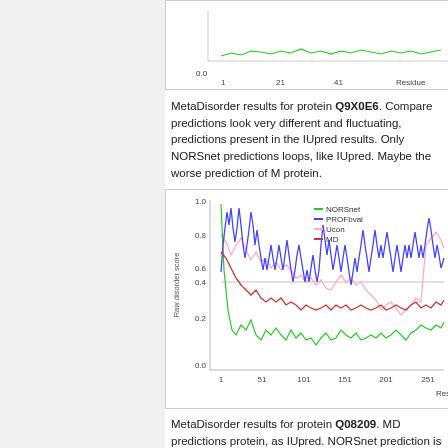[Figure (continuous-plot): Top partial line chart showing disorder scores (0.0 to top) for protein Q9X0E6, x-axis residues from 1 to ~41+, green line near 0.0]
MetaDisorder results for protein Q9X0E6. Compare predictions look very different and fluctuating, predictions present in the IUpred results. Only NORSnet predictions loops, like IUpred. Maybe the worse prediction of M protein.
[Figure (continuous-plot): Line chart for protein Q08209 showing raw disorder score (0.0-1.0) vs Residue (1-251+). Four series: NORSnet (green), PROFbval (blue), Ucon (pink), MD (red). Blue line fluctuates widely between 0.2 and 1.0, green dips low, pink moderate, red moderate-low.]
MetaDisorder results for protein Q08209. MD predictions protein, as IUpred. NORSnet prediction is also simili